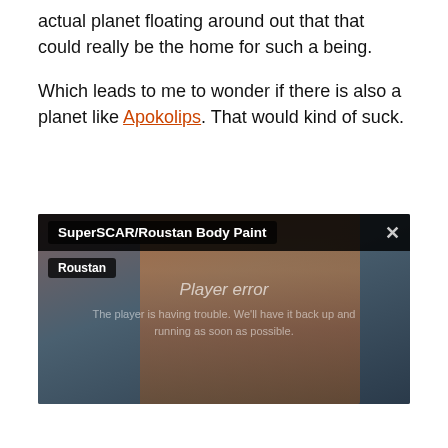actual planet floating around out that that could really be the home for such a being.
Which leads to me to wonder if there is also a planet like Apokolips. That would kind of suck.
[Figure (screenshot): Video player screenshot showing 'SuperSCAR/Roustan Body Paint' with a player error message: 'The player is having trouble. We’ll have it back up and running as soon as possible.' Background shows a woman with orange/red hair. Subtitle tag shows 'Roustan'. Close button (X) in top right.]